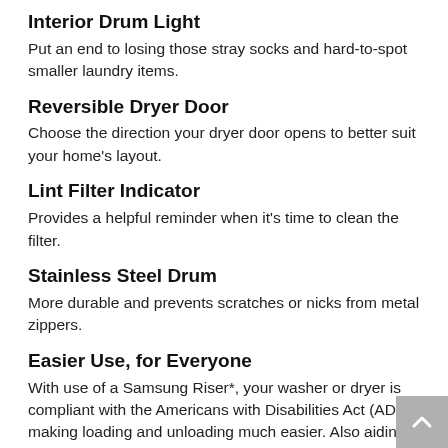Interior Drum Light
Put an end to losing those stray socks and hard-to-spot smaller laundry items.
Reversible Dryer Door
Choose the direction your dryer door opens to better suit your home's layout.
Lint Filter Indicator
Provides a helpful reminder when it's time to clean the filter.
Stainless Steel Drum
More durable and prevents scratches or nicks from metal zippers.
Easier Use, for Everyone
With use of a Samsung Riser*, your washer or dryer is compliant with the Americans with Disabilities Act (ADA), making loading and unloading much easier. Also aiding the visually and hearing impaired, audio assistance plays a different sound for each option and braille is featured next to key control panel buttons.